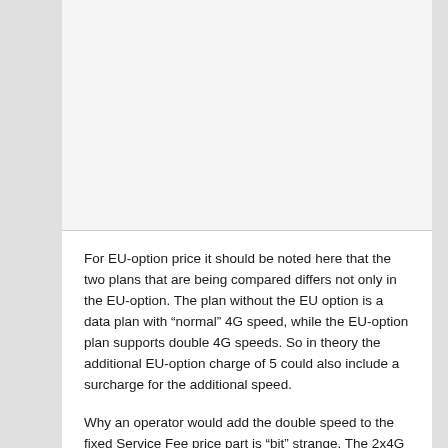For EU-option price it should be noted here that the two plans that are being compared differs not only in the EU-option. The plan without the EU option is a data plan with “normal” 4G speed, while the EU-option plan supports double 4G speeds. So in theory the additional EU-option charge of 5 could also include a surcharge for the additional speed.
Why an operator would add the double speed to the fixed Service Fee price part is “bit” strange. The 2x4G speed price-plan option clearly is a variable trigger for cost (and value to the customer’s data usage). Thus should be introduced in the the variable part (i.e., the Giga-Byte dependent part) of the data-centric price plan.
It is assumed that indeed the derived difference can be attributed to the EU option, i.e., the double speed has not...